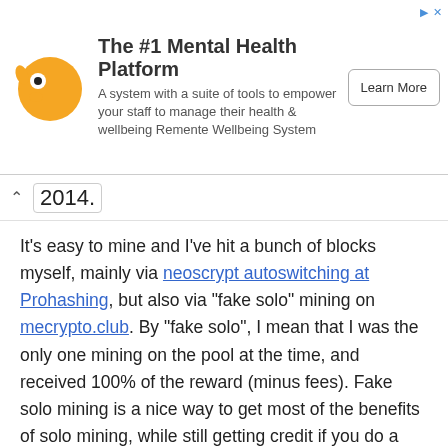[Figure (illustration): Advertisement banner for Remente Wellbeing System - The #1 Mental Health Platform. Shows a cartoon character logo, descriptive text, and a 'Learn More' button.]
2014.
It's easy to mine and I've hit a bunch of blocks myself, mainly via neoscrypt autoswitching at Prohashing, but also via "fake solo" mining on mecrypto.club. By "fake solo", I mean that I was the only one mining on the pool at the time, and received 100% of the reward (minus fees). Fake solo mining is a nice way to get most of the benefits of solo mining, while still getting credit if you do a bunch of work and stop mining and someone else immediately hits a block after you stop.
Development and community activity for UFO appear to be slow and sparse.
The website looks rather nice and has updates from this